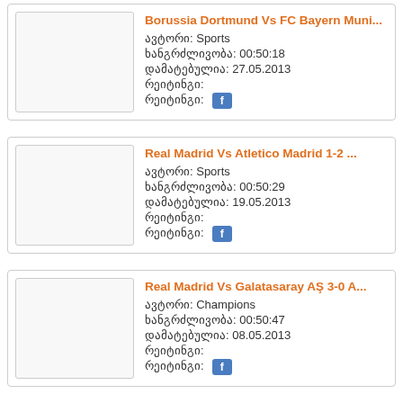Borussia Dortmund Vs FC Bayern Muni... | ავტორი: Sports | ხანგრძლივობა: 00:50:18 | დამატებულია: 27.05.2013 | რეიტინგი: | რეიტინგი: f
Real Madrid Vs Atletico Madrid 1-2 ... | ავტორი: Sports | ხანგრძლივობა: 00:50:29 | დამატებულია: 19.05.2013 | რეიტინგი: | რეიტინგი: f
Real Madrid Vs Galatasaray AŞ 3-0 A... | ავტორი: Champions | ხანგრძლივობა: 00:50:47 | დამატებულია: 08.05.2013 | რეიტინგი: | რეიტინგი: f
Real Madrid Vs Borussia Dortmund 2-...